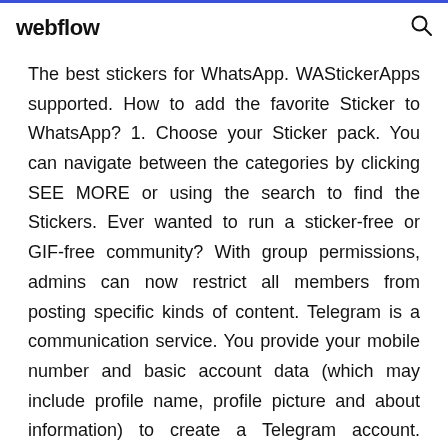webflow
The best stickers for WhatsApp. WAStickerApps supported. How to add the favorite Sticker to WhatsApp? 1. Choose your Sticker pack. You can navigate between the categories by clicking SEE MORE or using the search to find the Stickers. Ever wanted to run a sticker-free or GIF-free community? With group permissions, admins can now restrict all members from posting specific kinds of content. Telegram is a communication service. You provide your mobile number and basic account data (which may include profile name, profile picture and about information) to create a Telegram account. Messenger, free and safe download. Messenger latest version: A free